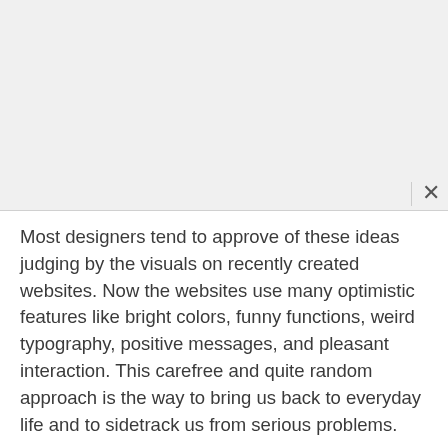Most designers tend to approve of these ideas judging by the visuals on recently created websites. Now the websites use many optimistic features like bright colors, funny functions, weird typography, positive messages, and pleasant interaction. This carefree and quite random approach is the way to bring us back to everyday life and to sidetrack us from serious problems.
A perfect example is a website of temporary tattoos Bernard Forever . This online project is fun. It has its cartoon character and other animated